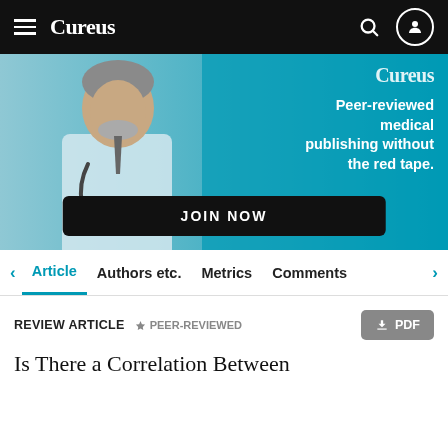Cureus
[Figure (photo): Cureus website banner showing a doctor in a white coat with stethoscope on a teal/cyan background with text 'Peer-reviewed medical publishing without the red tape.' and a JOIN NOW button]
Article  Authors etc.  Metrics  Comments
REVIEW ARTICLE  PEER-REVIEWED  PDF
Is There a Correlation Between